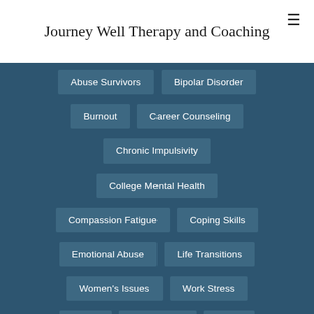Journey Well Therapy and Coaching
Abuse Survivors
Bipolar Disorder
Burnout
Career Counseling
Chronic Impulsivity
College Mental Health
Compassion Fatigue
Coping Skills
Emotional Abuse
Life Transitions
Women's Issues
Work Stress
Stress
Self Esteem
PTSD